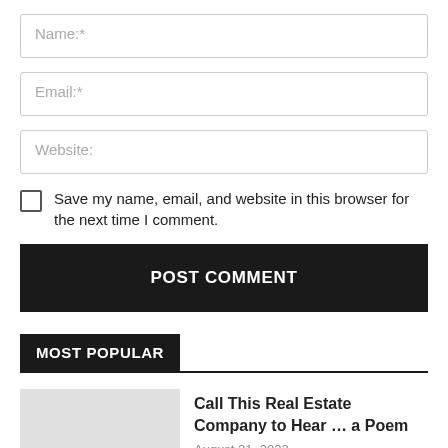Name:*
Email:*
Website:
Save my name, email, and website in this browser for the next time I comment.
POST COMMENT
MOST POPULAR
Call This Real Estate Company to Hear … a Poem
August 21, 2022